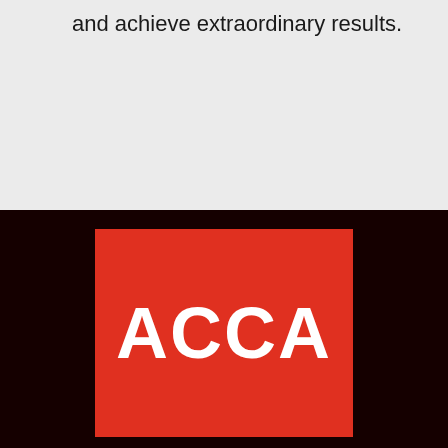and achieve extraordinary results.
[Figure (logo): ACCA logo: white bold text 'ACCA' on a red square background, set against a dark/black background]